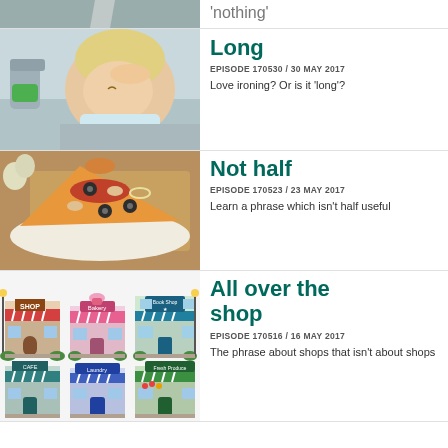'nothing'
Long
EPISODE 170530 / 30 MAY 2017
Love ironing? Or is it 'long'?
[Figure (photo): Woman with ironing board holding head in distress, green iron visible]
Not half
EPISODE 170523 / 23 MAY 2017
Learn a phrase which isn't half useful
[Figure (photo): Slice of pizza on a white plate with garlic in background]
All over the shop
EPISODE 170516 / 16 MAY 2017
The phrase about shops that isn't about shops
[Figure (illustration): Six cartoon shop fronts arranged in two rows of three]